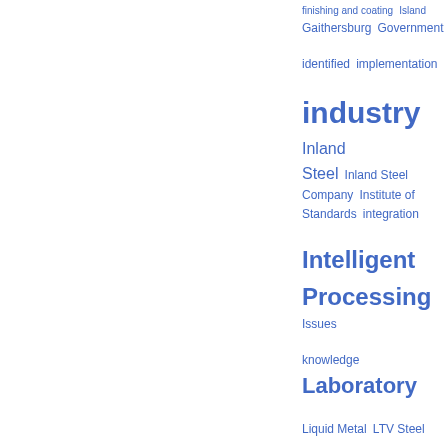[Figure (other): Tag cloud (word cloud) showing index terms in various font sizes, all in blue. Larger words appear more frequently. Terms include: finishing and coating, Island, Gaithersburg, Government, identified, implementation, industry, Inland Steel, Inland Steel Company, Institute of Standards, integration, Intelligent Processing, Issues, knowledge, Laboratory, Liquid Metal, LTV Steel, Manager, materials, Materials Science, McGill University, Measurement, Metal Production, metals industries, National Institute, Near Net Shape]